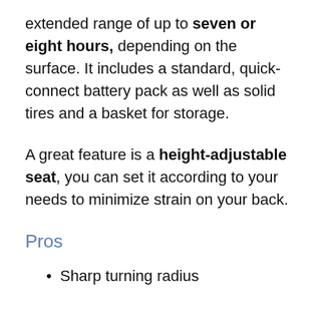extended range of up to seven or eight hours, depending on the surface. It includes a standard, quick-connect battery pack as well as solid tires and a basket for storage.
A great feature is a height-adjustable seat, you can set it according to your needs to minimize strain on your back.
Pros
Sharp turning radius